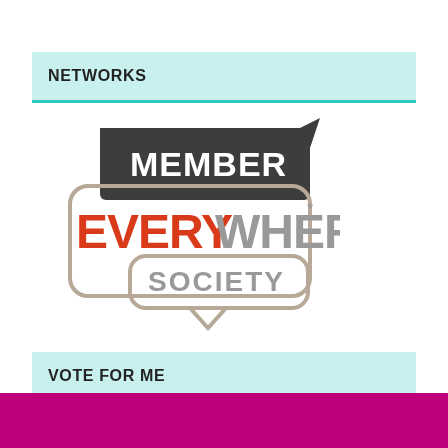NETWORKS
[Figure (logo): Member Everywhere Society logo — speech bubble shapes with 'MEMBER' in white on dark charcoal background, 'EVERY' in red and 'WHERE' in gray with superscript asterisk, and 'SOCIETY' in gray, all in bold sans-serif text inside overlapping rounded rectangle outlines]
VOTE FOR ME
[Figure (other): Broken image placeholder icon (small document with pencil)]
[Figure (other): Solid magenta/pink bar at page bottom]